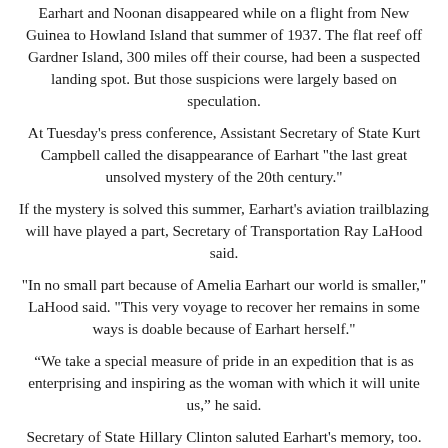Earhart and Noonan disappeared while on a flight from New Guinea to Howland Island that summer of 1937. The flat reef off Gardner Island, 300 miles off their course, had been a suspected landing spot. But those suspicions were largely based on speculation.
At Tuesday's press conference, Assistant Secretary of State Kurt Campbell called the disappearance of Earhart "the last great unsolved mystery of the 20th century."
If the mystery is solved this summer, Earhart's aviation trailblazing will have played a part, Secretary of Transportation Ray LaHood said.
"In no small part because of Amelia Earhart our world is smaller," LaHood said. "This very voyage to recover her remains in some ways is doable because of Earhart herself."
“We take a special measure of pride in an expedition that is as enterprising and inspiring as the woman with which it will unite us,” he said.
Secretary of State Hillary Clinton saluted Earhart's memory, too.
“Her legacy resonates today for anyone girls and boys who dreams about the stars,” Clinton said. “She gave people hope and she